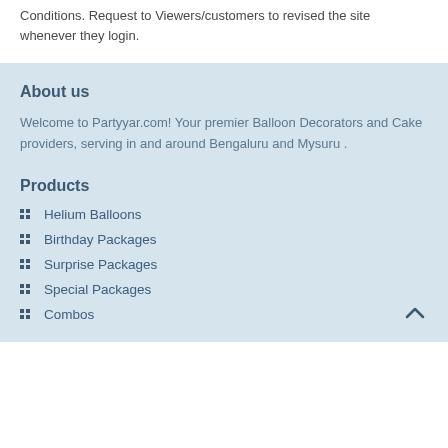Conditions. Request to Viewers/customers to revised the site whenever they login.
About us
Welcome to Partyyar.com! Your premier Balloon Decorators and Cake providers, serving in and around Bengaluru and Mysuru .
Products
Helium Balloons
Birthday Packages
Surprise Packages
Special Packages
Combos